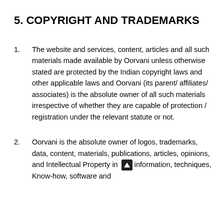5. COPYRIGHT AND TRADEMARKS
The website and services, content, articles and all such materials made available by Oorvani unless otherwise stated are protected by the Indian copyright laws and other applicable laws and Oorvani (its parent/ affiliates/ associates) is the absolute owner of all such materials irrespective of whether they are capable of protection / registration under the relevant statute or not.
Oorvani is the absolute owner of logos, trademarks, data, content, materials, publications, articles, opinions, and Intellectual Property in information, techniques, Know-how, software and